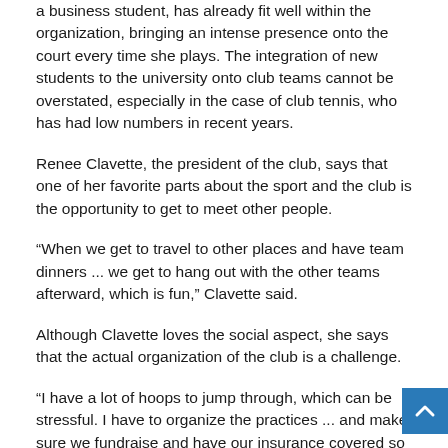a business student, has already fit well within the organization, bringing an intense presence onto the court every time she plays. The integration of new students to the university onto club teams cannot be overstated, especially in the case of club tennis, who has had low numbers in recent years.
Renee Clavette, the president of the club, says that one of her favorite parts about the sport and the club is the opportunity to get to meet other people.
“When we get to travel to other places and have team dinners ... we get to hang out with the other teams afterward, which is fun,” Clavette said.
Although Clavette loves the social aspect, she says that the actual organization of the club is a challenge.
“I have a lot of hoops to jump through, which can be stressful. I have to organize the practices ... and make sure we fundraise and have our insurance covered so that we can still compete,” Clavette explained.